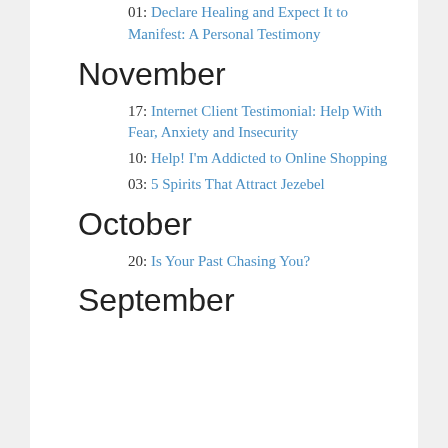01: Declare Healing and Expect It to Manifest: A Personal Testimony
November
17: Internet Client Testimonial: Help With Fear, Anxiety and Insecurity
10: Help! I'm Addicted to Online Shopping
03: 5 Spirits That Attract Jezebel
October
20: Is Your Past Chasing You?
September